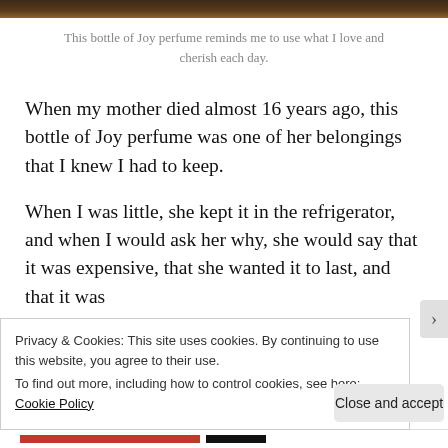[Figure (photo): Top strip of a photograph showing a bottle of Joy perfume]
This bottle of Joy perfume reminds me to use what I love and cherish each day.
When my mother died almost 16 years ago, this bottle of Joy perfume was one of her belongings that I knew I had to keep.
When I was little, she kept it in the refrigerator, and when I would ask her why, she would say that it was expensive, that she wanted it to last, and that it was
Privacy & Cookies: This site uses cookies. By continuing to use this website, you agree to their use.
To find out more, including how to control cookies, see here: Cookie Policy
Close and accept